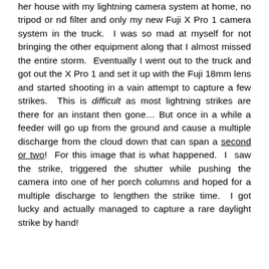her house with my lightning camera system at home, no tripod or nd filter and only my new Fuji X Pro 1 camera system in the truck.  I was so mad at myself for not bringing the other equipment along that I almost missed the entire storm.  Eventually I went out to the truck and got out the X Pro 1 and set it up with the Fuji 18mm lens and started shooting in a vain attempt to capture a few strikes.  This is difficult as most lightning strikes are there for an instant then gone… But once in a while a feeder will go up from the ground and cause a multiple discharge from the cloud down that can span a second or two!  For this image that is what happened.  I  saw the strike, triggered the shutter while pushing the camera into one of her porch columns and hoped for a multiple discharge to lengthen the strike time.  I got lucky and actually managed to capture a rare daylight strike by hand!